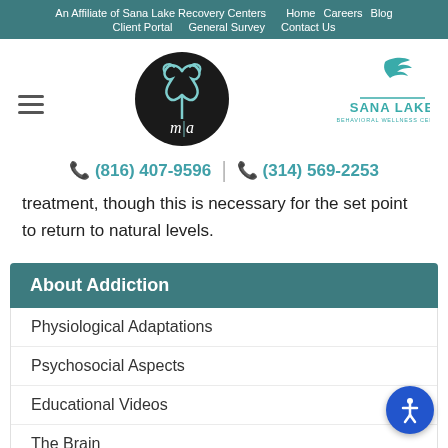An Affiliate of Sana Lake Recovery Centers  Home  Careers  Blog  Client Portal  General Survey  Contact Us
[Figure (logo): Hamburger menu icon (three horizontal lines)]
[Figure (logo): MIA circular logo with tree design on black background with text 'm|a']
[Figure (logo): Sana Lake Behavioral Wellness Center logo with bird and text]
📞 (816) 407-9596  |  📞 (314) 569-2253
treatment, though this is necessary for the set point to return to natural levels.
About Addiction
Physiological Adaptations
Psychosocial Aspects
Educational Videos
The Brain